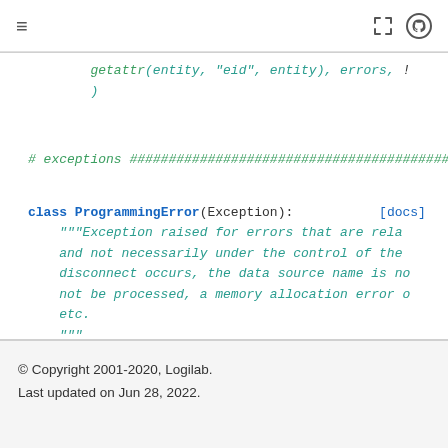[Figure (screenshot): Top navigation bar with hamburger menu icon on the left and expand/GitHub icons on the right]
getattr(entity, "eid", entity), errors, s
    )


# exceptions ########################################


class ProgrammingError(Exception):          [docs]
    """Exception raised for errors that are rela
    and not necessarily under the control of the
    disconnect occurs, the data source name is no
    not be processed, a memory allocation error o
    etc.
    """
© Copyright 2001-2020, Logilab.
Last updated on Jun 28, 2022.